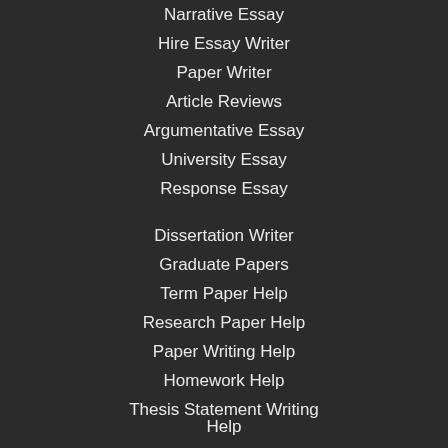Narrative Essay
Hire Essay Writer
Paper Writer
Article Reviews
Argumentative Essay
University Essay
Response Essay
Dissertation Writer
Graduate Papers
Term Paper Help
Research Paper Help
Paper Writing Help
Homework Help
Thesis Statement Writing Help
GCSE Coursework
Discussion Essay